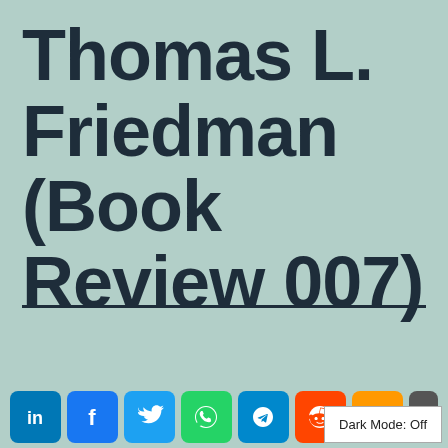Thomas L. Friedman (Book Review 007)
[Figure (infographic): Social sharing buttons: LinkedIn (blue), Facebook (blue), Twitter (light blue), WhatsApp (green), Telegram (blue), Reddit (orange-red), Amazon (orange), and one more partially visible. Dark Mode: Off button overlay on right.]